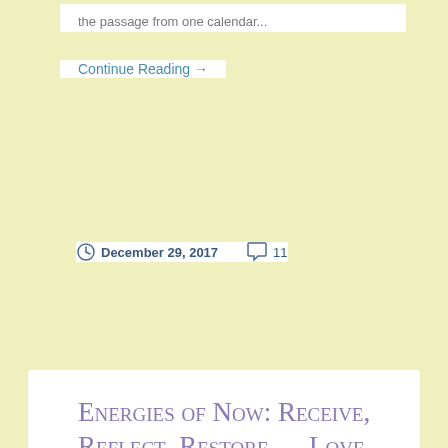the passage from one calendar...
Continue Reading →
December 29, 2017   11
Energies of Now: Receive, Reflect, Restore … Love
[Figure (photo): A soft, dreamlike painting with teal and blue clouds and misty atmosphere, featuring a figure with light-colored hair in the lower portion of the image]